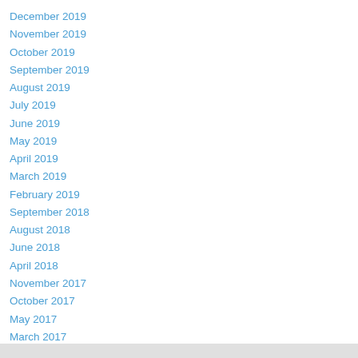December 2019
November 2019
October 2019
September 2019
August 2019
July 2019
June 2019
May 2019
April 2019
March 2019
February 2019
September 2018
August 2018
June 2018
April 2018
November 2017
October 2017
May 2017
March 2017